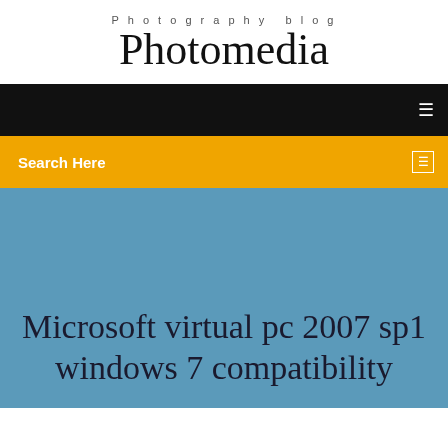Photography blog
Photomedia
[Figure (other): Black navigation bar with white menu icon]
Search Here
Microsoft virtual pc 2007 sp1 windows 7 compatibility